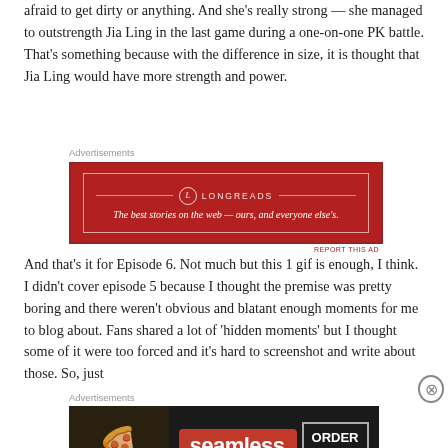afraid to get dirty or anything. And she's really strong — she managed to outstrength Jia Ling in the last game during a one-on-one PK battle. That's something because with the difference in size, it is thought that Jia Ling would have more strength and power.
[Figure (other): Longreads advertisement banner — red background with white border, Longreads logo and tagline 'The best stories on the web — ours, and everyone else's.']
And that's it for Episode 6. Not much but this 1 gif is enough, I think. I didn't cover episode 5 because I thought the premise was pretty boring and there weren't obvious and blatant enough moments for me to blog about. Fans shared a lot of 'hidden moments' but I thought some of it were too forced and it's hard to screenshot and write about those. So, just
[Figure (other): Seamless food delivery advertisement banner — dark background with pizza image, Seamless logo in red, and ORDER NOW button.]